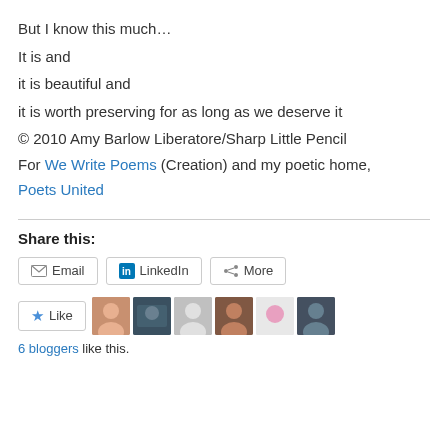But I know this much…
It is and
it is beautiful and
it is worth preserving for as long as we deserve it
© 2010 Amy Barlow Liberatore/Sharp Little Pencil
For We Write Poems (Creation) and my poetic home, Poets United
Share this:
Email  LinkedIn  More
Like
6 bloggers like this.